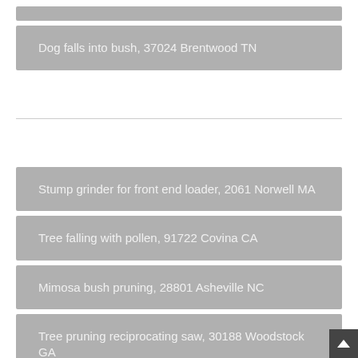Dog falls into bush, 37024 Brentwood TN
Stump grinder for front end loader, 2061 Norwell MA
Tree falling with pollen, 91722 Covina CA
Mimosa bush pruning, 28801 Asheville NC
Tree pruning reciprocating saw, 30188 Woodstock GA
Is it too late to trim crepe myrtle trees, 1887 Wilmington MA